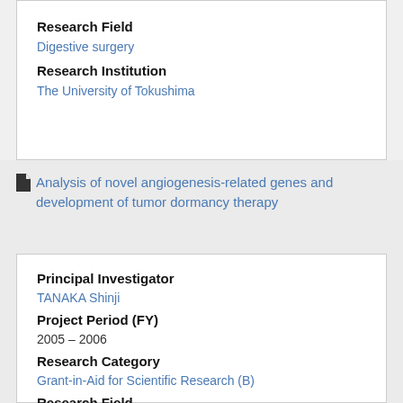Research Field
Digestive surgery
Research Institution
The University of Tokushima
Analysis of novel angiogenesis-related genes and development of tumor dormancy therapy
Principal Investigator
TANAKA Shinji
Project Period (FY)
2005 – 2006
Research Category
Grant-in-Aid for Scientific Research (B)
Research Field